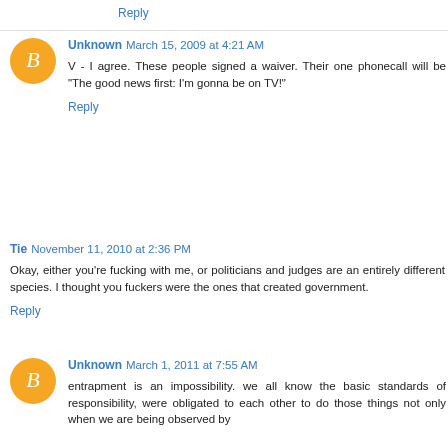Reply
Unknown March 15, 2009 at 4:21 AM
V - I agree. These people signed a waiver. Their one phonecall will be "The good news first: I'm gonna be on TV!"
Reply
Tie November 11, 2010 at 2:36 PM
Okay, either you're fucking with me, or politicians and judges are an entirely different species. I thought you fuckers were the ones that created government.
Reply
Unknown March 1, 2011 at 7:55 AM
entrapment is an impossibility. we all know the basic standards of responsibility, were obligated to each other to do those things not only when we are being observed by